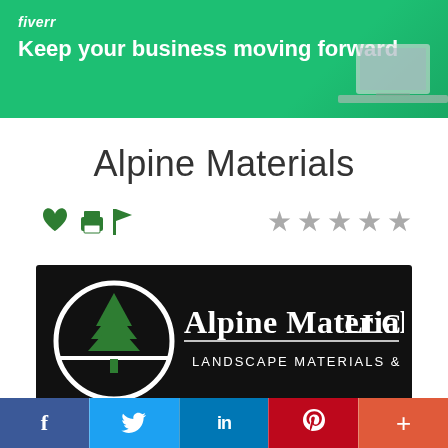[Figure (infographic): Fiverr banner with green background, Fiverr logo in italic, tagline 'Keep your business moving forward', laptop in corner]
Alpine Materials
[Figure (infographic): Heart, printer, and flag icons on left; five gray star rating icons on right]
[Figure (logo): Alpine Materials LLC logo: black background with white circle containing a pine tree icon, text 'Alpine Materials, LLC' and 'LANDSCAPE MATERIALS & RECYCLING']
[Figure (infographic): Social media share bar: Facebook (f), Twitter (bird), LinkedIn (in), Pinterest (P), More (+)]